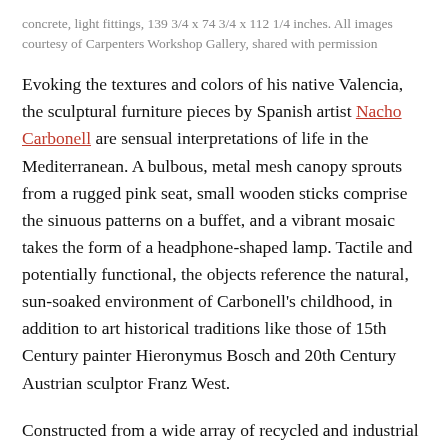concrete, light fittings, 139 3/4 x 74 3/4 x 112 1/4 inches. All images courtesy of Carpenters Workshop Gallery, shared with permission
Evoking the textures and colors of his native Valencia, the sculptural furniture pieces by Spanish artist Nacho Carbonell are sensual interpretations of life in the Mediterranean. A bulbous, metal mesh canopy sprouts from a rugged pink seat, small wooden sticks comprise the sinuous patterns on a buffet, and a vibrant mosaic takes the form of a headphone-shaped lamp. Tactile and potentially functional, the objects reference the natural, sun-soaked environment of Carbonell's childhood, in addition to art historical traditions like those of 15th Century painter Hieronymus Bosch and 20th Century Austrian sculptor Franz West.
Constructed from a wide array of recycled and industrial materials like glass bottles and concrete, the works are largely organic and archaeological, rooted in personal